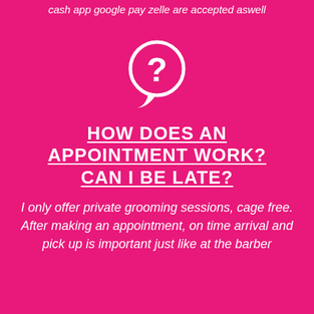cash app google pay zelle are accepted aswell
[Figure (illustration): White speech bubble icon with a question mark inside, on a hot pink background]
HOW DOES AN APPOINTMENT WORK? CAN I BE LATE?
I only offer private grooming sessions, cage free. After making an appointment, on time arrival and pick up is important just like at the barber